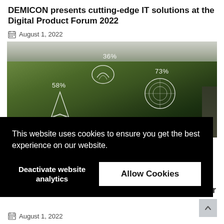DEMICON presents cutting-edge IT solutions at the Digital Product Forum 2022
August 1, 2022
[Figure (photo): Aerial view of green countryside fields with white glowing HUD-style AR overlays showing percentages: 36%, 58%, 73%]
This website uses cookies to ensure you get the best experience on our website.
Deactivate website analytics
Allow Cookies
August 1, 2022